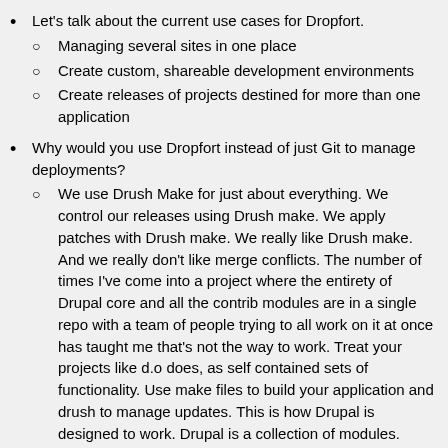Let's talk about the current use cases for Dropfort.
Managing several sites in one place
Create custom, shareable development environments
Create releases of projects destined for more than one application
Why would you use Dropfort instead of just Git to manage deployments?
We use Drush Make for just about everything. We control our releases using Drush make. We apply patches with Drush make. We really like Drush make. And we really don't like merge conflicts. The number of times I've come into a project where the entirety of Drupal core and all the contrib modules are in a single repo with a team of people trying to all work on it at once has taught me that's not the way to work. Treat your projects like d.o does, as self contained sets of functionality. Use make files to build your application and drush to manage updates. This is how Drupal is designed to work. Drupal is a collection of modules. When you all of a sudden lump it all together into a single repo you're breaking how Drupal was meant to be managed.